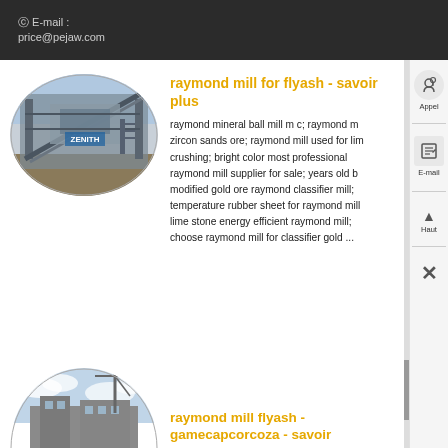E-mail : price@pejaw.com
[Figure (photo): Industrial conveyor/screening equipment, oval cropped photo]
raymond mill for flyash - savoir plus
raymond mineral ball mill m c; raymond m zircon sands ore; raymond mill used for lim crushing; bright color most professional raymond mill supplier for sale; years old b modified gold ore raymond classifier mill; temperature rubber sheet for raymond mill lime stone energy efficient raymond mill; choose raymond mill for classifier gold ...
[Figure (photo): Industrial building/facility with sky, half-oval cropped photo]
raymond mill flyash - gamecapcorcoza - savoir